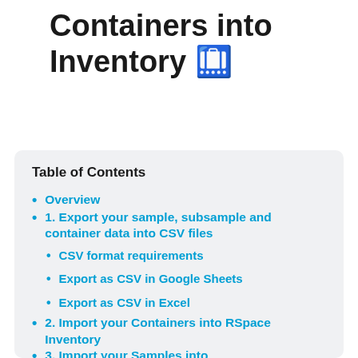Containers into Inventory 🛄
Table of Contents
Overview
1. Export your sample, subsample and container data into CSV files
CSV format requirements
Export as CSV in Google Sheets
Export as CSV in Excel
2. Import your Containers into RSpace Inventory
3. Import your Samples into